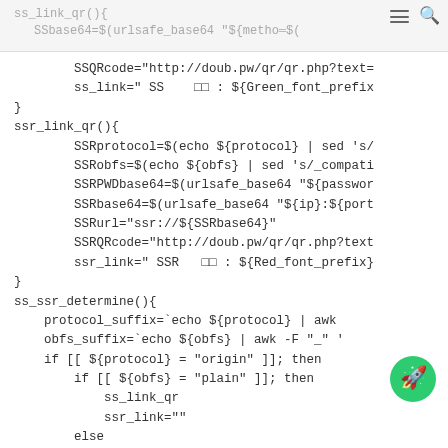ss_link_qr(){
    SSbase64=$(urlsafe_base64 "${metho...$(  SSurl="ss://${SSbase64}"
[Figure (screenshot): Header bar icons: hamburger menu and search icon]
SSQRcode="http://doub.pw/qr/qr.php?text=
        ss_link=" SS    □□ : ${Green_font_prefix
}
ssr_link_qr(){
        SSRprotocol=$(echo ${protocol} | sed 's/
        SSRobfs=$(echo ${obfs} | sed 's/_compati
        SSRPWDbase64=$(urlsafe_base64 "${passwor
        SSRbase64=$(urlsafe_base64 "${ip}:${port
        SSRurl="ssr://${SSRbase64}"
        SSRQRcode="http://doub.pw/qr/qr.php?text
        ssr_link=" SSR   □□ : ${Red_font_prefix}
}
ss_ssr_determine(){
    protocol_suffix=`echo ${protocol} | awk
    obfs_suffix=`echo ${obfs} | awk -F "_" '
    if [[ ${protocol} = "origin" ]]; then
        if [[ ${obfs} = "plain" ]]; then
            ss_link_qr
            ssr_link=""
        else
    else